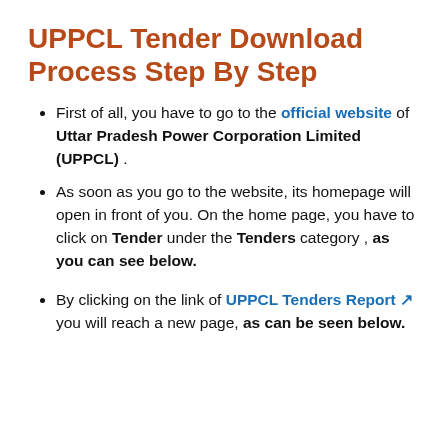UPPCL Tender Download Process Step By Step
▶ First of all, you have to go to the official website of Uttar Pradesh Power Corporation Limited (UPPCL) .
▶ As soon as you go to the website, its homepage will open in front of you. On the home page, you have to click on Tender under the Tenders category , as you can see below.
▶ By clicking on the link of ▶ UPPCL Tenders Report ↗ you will reach a new page, as can be seen below.